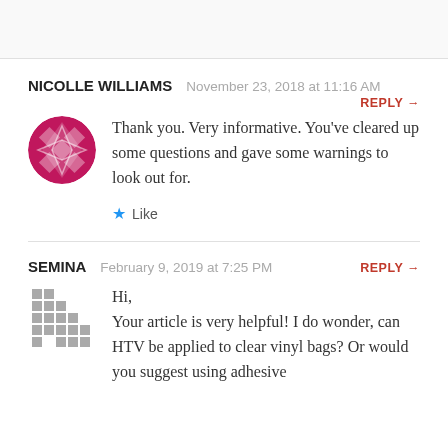NICOLLE WILLIAMS  November 23, 2018 at 11:16 AM
REPLY →
Thank you. Very informative. You've cleared up some questions and gave some warnings to look out for.
★ Like
SEMINA  February 9, 2019 at 7:25 PM  REPLY →
Hi,
Your article is very helpful! I do wonder, can HTV be applied to clear vinyl bags? Or would you suggest using adhesive